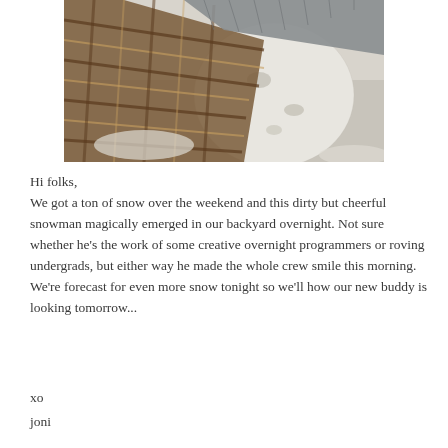[Figure (photo): A dirty snowman with a plaid scarf/shirt draped around it, photographed from above in snowy conditions.]
Hi folks,
We got a ton of snow over the weekend and this dirty but cheerful snowman magically emerged in our backyard overnight. Not sure whether he’s the work of some creative overnight programmers or roving undergrads, but either way he made the whole crew smile this morning. We’re forecast for even more snow tonight so we’ll how our new buddy is looking tomorrow...
xo
joni